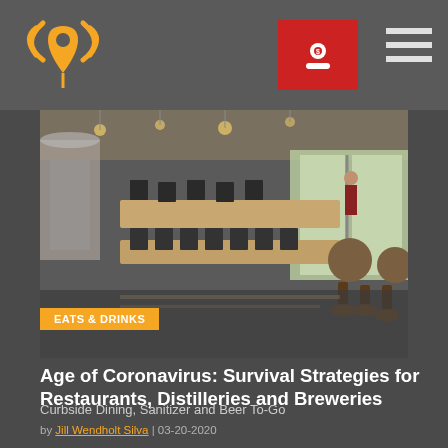[Figure (photo): Interior of an empty brewery/restaurant with long wooden tables, black metal chairs, bar stools, and large windows. Industrial-style space with equipment visible in background.]
EATS & DRINKS
Age of Coronavirus: Survival Strategies for Restaurants, Distilleries and Breweries
Curbside Dining, Sanitizer and Beer To-Go
by Jill Wendholt Silva | 03-20-2020